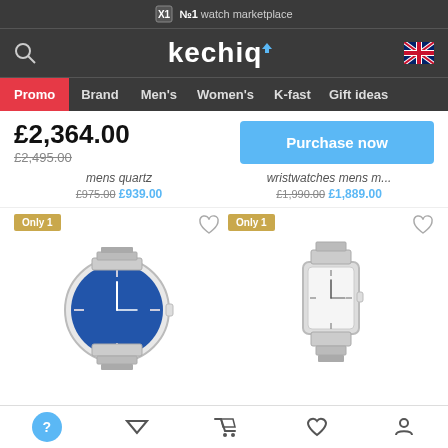№1 watch marketplace
[Figure (logo): Kechiq logo with search icon and UK flag]
Promo | Brand | Men's | Women's | K-fast | Gift ideas
£2,364.00
£2,495.00 (strikethrough)
Purchase now
mens quartz ... £975.00 £939.00
wristwatches mens m... £1,990.00 £1,889.00
[Figure (photo): Silver watch with blue dial on metal bracelet, Only 1 badge]
[Figure (photo): Square silver watch on metal bracelet, Only 1 badge]